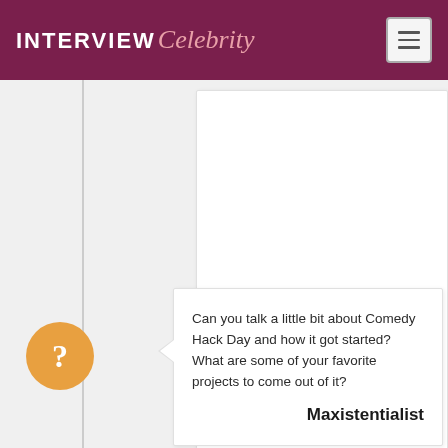INTERVIEW Celebrity
[Figure (other): White card placeholder area (advertisement or image placeholder)]
Can you talk a little bit about Comedy Hack Day and how it got started? What are some of your favorite projects to come out of it?
Maxistentialist